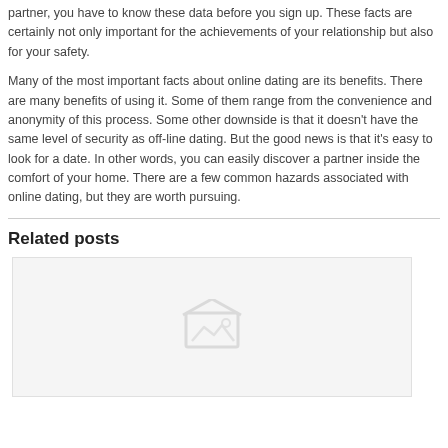partner, you have to know these data before you sign up. These facts are certainly not only important for the achievements of your relationship but also for your safety.
Many of the most important facts about online dating are its benefits. There are many benefits of using it. Some of them range from the convenience and anonymity of this process. Some other downside is that it doesn't have the same level of security as off-line dating. But the good news is that it's easy to look for a date. In other words, you can easily discover a partner inside the comfort of your home. There are a few common hazards associated with online dating, but they are worth pursuing.
Related posts
[Figure (photo): Placeholder image thumbnail with a house/image icon in gray on a light gray background]